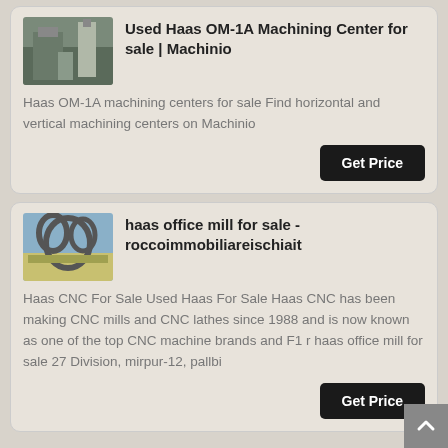[Figure (photo): Industrial facility with silos and equipment]
Used Haas OM-1A Machining Center for sale | Machinio
Haas OM-1A machining centers for sale Find horizontal and vertical machining centers on Machinio
Get Price
[Figure (photo): Industrial machinery with curved metal pipes and structures]
haas office mill for sale - roccoimmobiliareischiait
Haas CNC For Sale Used Haas For Sale Haas CNC has been making CNC mills and CNC lathes since 1988 and is now known as one of the top CNC machine brands and F1 r haas office mill for sale 27 Division, mirpur-12, pallbi
Get Price